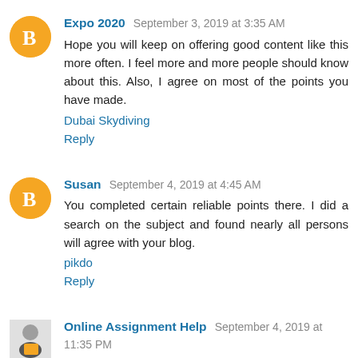Expo 2020  September 3, 2019 at 3:35 AM
Hope you will keep on offering good content like this more often. I feel more and more people should know about this. Also, I agree on most of the points you have made.
Dubai Skydiving
Reply
Susan  September 4, 2019 at 4:45 AM
You completed certain reliable points there. I did a search on the subject and found nearly all persons will agree with your blog.
pikdo
Reply
Online Assignment Help  September 4, 2019 at 11:35 PM
You can only score better grades if you write high-quality assignments as professors expect a lot from students. Best assignment help solves those issues faced by students so